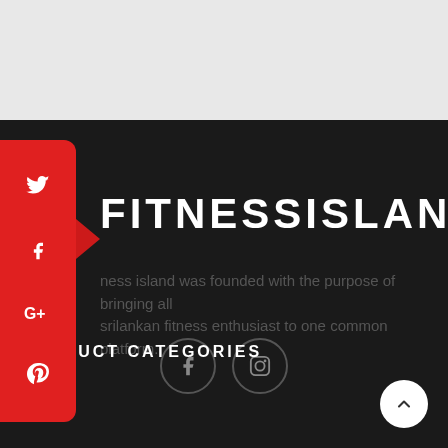[Figure (screenshot): Top light gray background area representing a website header or banner region]
[Figure (infographic): Red vertical social media sidebar with Twitter, Facebook, Google+, and Pinterest icons]
FITNESSISLAND
ness island was founded with the purpose of bringing all srilankan fitness enthusiast to one common platform.
[Figure (infographic): Two circular social media icons: Facebook (f) and Instagram (camera) with dark circle borders]
PRODUCT CATEGORIES
Proteins